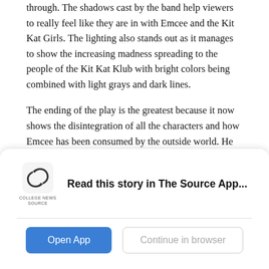through. The shadows cast by the band help viewers to really feel like they are in with Emcee and the Kit Kat Girls. The lighting also stands out as it manages to show the increasing madness spreading to the people of the Kit Kat Klub with bright colors being combined with light grays and dark lines.
The ending of the play is the greatest because it now shows the disintegration of all the characters and how Emcee has been consumed by the outside world. He takes off his uniform/officer jacket to reveal that he is prisoner being held in a concentration camp. He disappears back stage and the play ends with the cast rushing out to take their bows and
[Figure (logo): College News Source logo — stylized S shape in dark gray/black with text 'COLLEGE NEWS SOURCE' below]
Read this story in The Source App...
Open App
Continue in browser